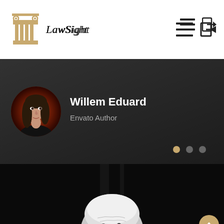[Figure (logo): LawSight logo with golden Greek column/pillar icon and italic serif text 'LawSight']
[Figure (illustration): Hamburger menu icon (three horizontal lines) and an arrow/exit icon on the right side of the header navigation]
[Figure (photo): Circular profile photo of a woman with dark hair on a dark reddish-brown background]
Willem Eduard
Envato Author
[Figure (other): Three dot pagination indicators: first dot golden/active, second and third dots grey/inactive]
[Figure (photo): Black and white photo of an older bald man looking upward, photographed from below]